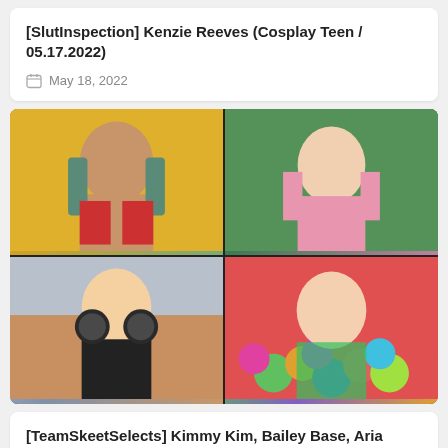[SlutInspection] Kenzie Reeves (Cosplay Teen / 05.17.2022)
May 18, 2022
[Figure (photo): Four-panel photo grid showing four different women in various poses and outfits]
[TeamSkeetSelects] Kimmy Kim, Bailey Base, Aria Carson, Kenzie Reeves (An Adorable Compilation /